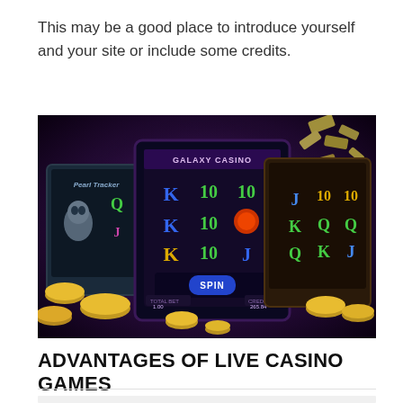This may be a good place to introduce yourself and your site or include some credits.
[Figure (photo): Promotional banner showing three online casino slot machine game screens with playing card symbols (K, Q, J, 10) and gold coins scattered around on a dark purple/black background. The center screen shows a 'GALAXY CASINO' style slot game with a SPIN button. Left screen shows 'Pearl Tracker' themed slot. Right screen shows a vintage/classic themed slot game.]
ADVANTAGES OF LIVE CASINO GAMES